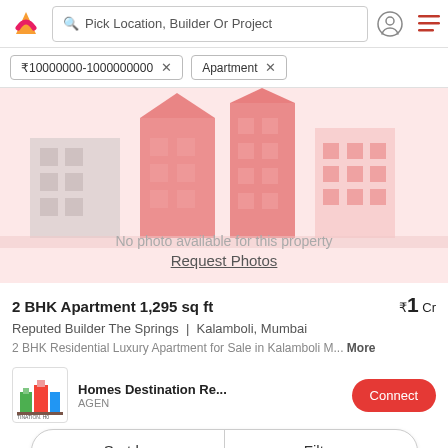Pick Location, Builder Or Project
₹10000000-1000000000 × Apartment ×
[Figure (illustration): Real estate app property listing placeholder image showing illustrated buildings in red/pink tones with text 'No photo available for this property' and 'Request Photos' link]
2 BHK Apartment 1,295 sq ft ₹1 Cr
Reputed Builder The Springs | Kalamboli, Mumbai
2 BHK Residential Luxury Apartment for Sale in Kalamboli M... More
Homes Destination Re... AGENT Connect
Sort by Filter